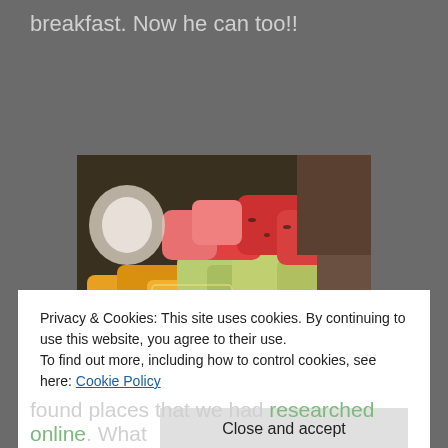breakfast.  Now he can too!!
[Figure (photo): A bowl of colorful mixed fruit including watermelon chunks, cantaloupe/mango pieces, honeydew, and other fruits. A photobucket watermark is visible in the center of the image.]
Privacy & Cookies: This site uses cookies. By continuing to use this website, you agree to their use.
To find out more, including how to control cookies, see here: Cookie Policy
Close and accept
found places that we had researched online.  What